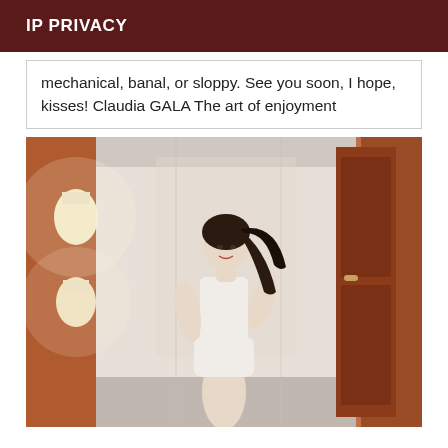IP PRIVACY
mechanical, banal, or sloppy. See you soon, I hope, kisses! Claudia GALA The art of enjoyment
[Figure (photo): A young woman with long dark hair posing in a white outfit in an indoor hallway with warm lighting and reddish-brown doors.]